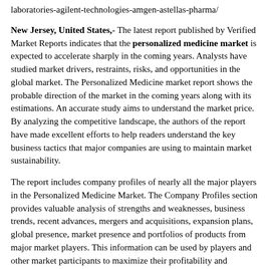laboratories-agilent-technologies-amgen-astellas-pharma/
New Jersey, United States,- The latest report published by Verified Market Reports indicates that the personalized medicine market is expected to accelerate sharply in the coming years. Analysts have studied market drivers, restraints, risks, and opportunities in the global market. The Personalized Medicine market report shows the probable direction of the market in the coming years along with its estimations. An accurate study aims to understand the market price. By analyzing the competitive landscape, the authors of the report have made excellent efforts to help readers understand the key business tactics that major companies are using to maintain market sustainability.
The report includes company profiles of nearly all the major players in the Personalized Medicine Market. The Company Profiles section provides valuable analysis of strengths and weaknesses, business trends, recent advances, mergers and acquisitions, expansion plans, global presence, market presence and portfolios of products from major market players. This information can be used by players and other market participants to maximize their profitability and streamline their business strategies. Our competitive analysis also provides vital information that will help new entrants identify barriers to entry and assess the level of competitiveness in the personalized medicine market.